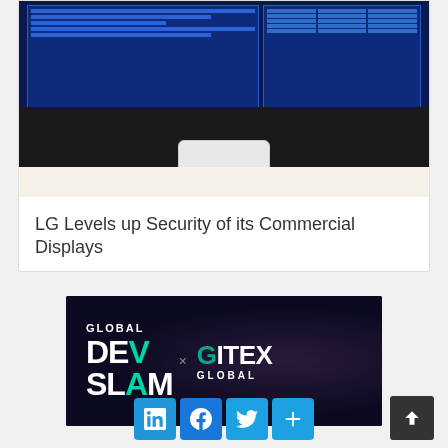[Figure (photo): LG commercial display device on a desk with a large monitor showing a blue security dashboard interface in the background]
LG Levels up Security of its Commercial Displays
[Figure (illustration): Global Dev Slam x GITEX Global event banner with teal and white text on dark background]
[Figure (other): Social media share buttons: LinkedIn, Facebook, Twitter, and a More (+) button, plus a back-to-top arrow button]